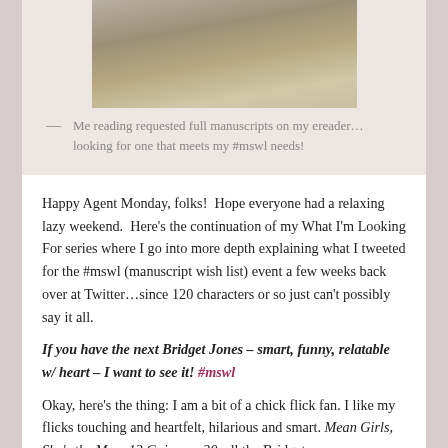[Figure (photo): Photo of a person reading on an ereader, appears to be at a beach or sandy location]
— Me reading requested full manuscripts on my ereader…looking for one that meets my #mswl needs!
Happy Agent Monday, folks!  Hope everyone had a relaxing lazy weekend.  Here's the continuation of my What I'm Looking For series where I go into more depth explaining what I tweeted for the #mswl (manuscript wish list) event a few weeks back over at Twitter…since 120 characters or so just can't possibly say it all.
If you have the next Bridget Jones – smart, funny, relatable w/ heart – I want to see it! #mswl
Okay, here's the thing: I am a bit of a chick flick fan. I like my flicks touching and heartfelt, hilarious and smart. Mean Girls, She's the Man, 13 Going on 30, all the Bridget